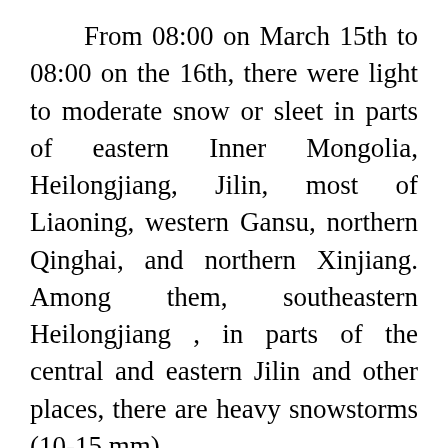From 08:00 on March 15th to 08:00 on the 16th, there were light to moderate snow or sleet in parts of eastern Inner Mongolia, Heilongjiang, Jilin, most of Liaoning, western Gansu, northern Qinghai, and northern Xinjiang. Among them, southeastern Heilongjiang , in parts of the central and eastern Jilin and other places, there are heavy snowstorms (10-15 mm).
There were moderate to heavy rains in parts of Xinjiang along the Tianshan Mountains, western Hunan, western Chongqing, and central and northern Guizhou. Among them, there were heavy rains (50-60 mm) in parts of